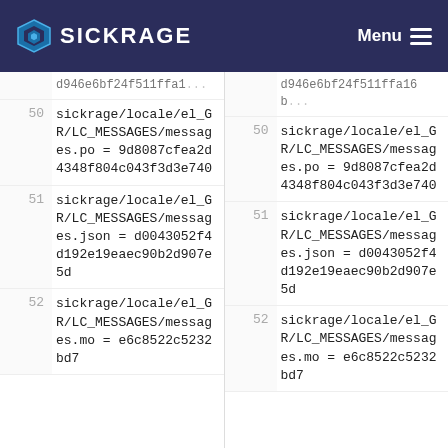SICKRAGE Menu
d946e6bf24f511ffa1... | d946e6bf24f511ffa16b...
50 sickrage/locale/el_GR/LC_MESSAGES/messages.po = 9d8087cfea2d4348f804c043f3d3e740
50 sickrage/locale/el_GR/LC_MESSAGES/messages.po = 9d8087cfea2d4348f804c043f3d3e740
51 sickrage/locale/el_GR/LC_MESSAGES/messages.json = d0043052f4d192e19eaec90b2d907e5d
51 sickrage/locale/el_GR/LC_MESSAGES/messages.json = d0043052f4d192e19eaec90b2d907e5d
52 sickrage/locale/el_GR/LC_MESSAGES/messages.mo = e6c8522c5232bd7
52 sickrage/locale/el_GR/LC_MESSAGES/messages.mo = e6c8522c5232bd7